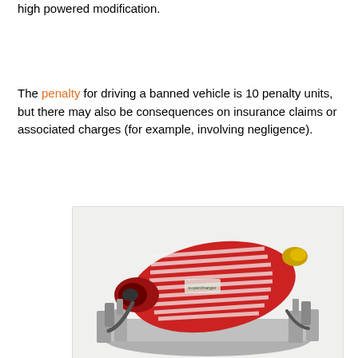high powered modification.
The penalty for driving a banned vehicle is 10 penalty units, but there may also be consequences on insurance claims or associated charges (for example, involving negligence).
[Figure (photo): Photo of a red and silver automotive supercharger engine component on a white background]